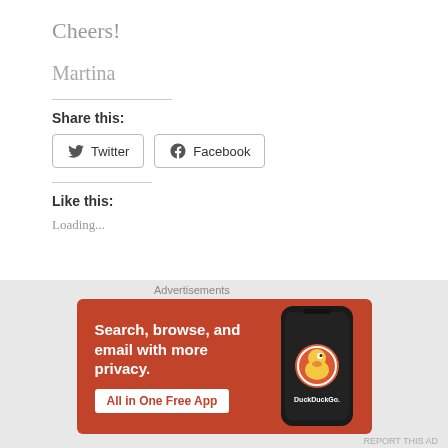Cheers!
Martina
Share this:
Twitter   Facebook
Like this:
Loading...
[Figure (other): DuckDuckGo advertisement banner: orange background with text 'Search, browse, and email with more privacy. All in One Free App' and a phone image with DuckDuckGo logo]
Advertisements
REPORT THIS AD